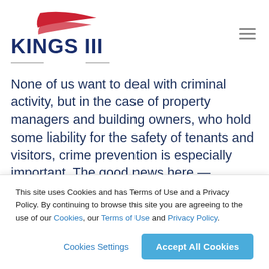KINGS III
None of us want to deal with criminal activity, but in the case of property managers and building owners, who hold some liability for the safety of tenants and visitors, crime prevention is especially important. The good news here — because a number of crimes are recurring, there are well-established methods
This site uses Cookies and has Terms of Use and a Privacy Policy. By continuing to browse this site you are agreeing to the use of our Cookies, our Terms of Use and Privacy Policy.
Cookies Settings
Accept All Cookies